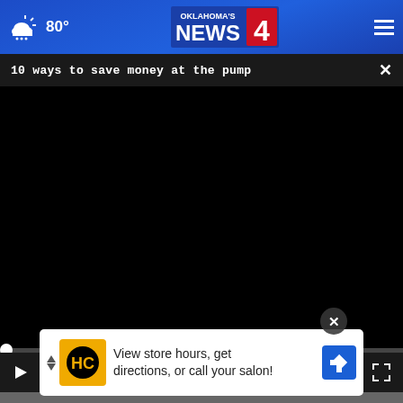80° Oklahoma's News 4
10 ways to save money at the pump
[Figure (screenshot): Black video player area, paused at 00:00 with play button, mute icon, timestamp and fullscreen button controls]
[Figure (photo): Partial photo of a smiling older man visible beneath the video player]
View store hours, get directions, or call your salon!